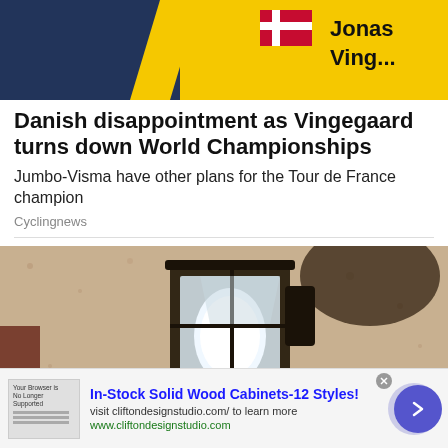[Figure (photo): Car with yellow branding showing 'Jonas Ving...' text and Danish flag graphic on a dark blue vehicle]
Danish disappointment as Vingegaard turns down World Championships
Jumbo-Visma have other plans for the Tour de France champion
Cyclingnews
[Figure (photo): Close-up photo of a black metal wall lantern with a white frosted glass bulb, mounted on a textured beige/tan stucco wall]
In-Stock Solid Wood Cabinets-12 Styles!
visit cliftondesignstudio.com/ to learn more
www.cliftondesignstudio.com